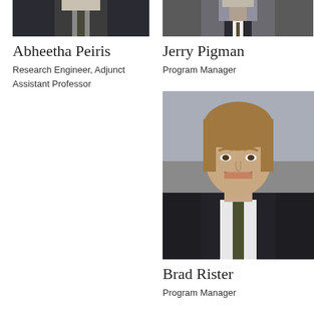[Figure (photo): Partial photo of Abheetha Peiris, cropped at top showing suit and tie]
Abheetha Peiris
Research Engineer, Adjunct Assistant Professor
[Figure (photo): Partial photo of Jerry Pigman, cropped at top]
Jerry Pigman
Program Manager
[Figure (photo): Portrait photo of Brad Rister, smiling man with light brown hair wearing a dark suit and tie]
Brad Rister
Program Manager